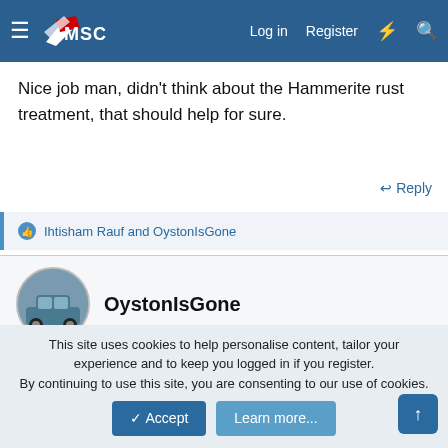MSC — Log in  Register
Nice job man, didn't think about the Hammerite rust treatment, that should help for sure.
↩ Reply
👍 Ihtisham Rauf and OystonIsGone
OystonIsGone
May 20, 2020   #28,427
Ihtisham Rauf said:
This site uses cookies to help personalise content, tailor your experience and to keep you logged in if you register. By continuing to use this site, you are consenting to our use of cookies.
✓ Accept   Learn more...